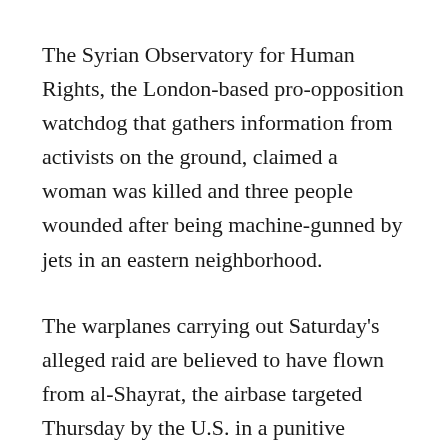The Syrian Observatory for Human Rights, the London-based pro-opposition watchdog that gathers information from activists on the ground, claimed a woman was killed and three people wounded after being machine-gunned by jets in an eastern neighborhood.
The warplanes carrying out Saturday's alleged raid are believed to have flown from al-Shayrat, the airbase targeted Thursday by the U.S. in a punitive barrage of 59 Cruise missiles strike, the greatest